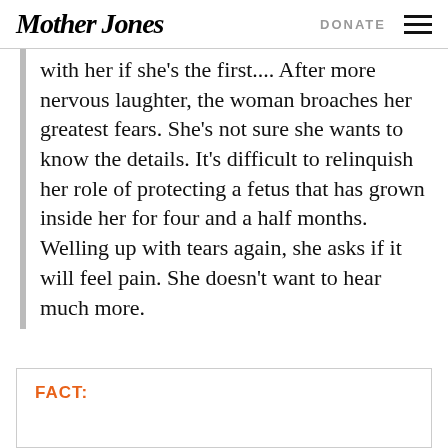Mother Jones | DONATE
with her if she's the first.... After more nervous laughter, the woman broaches her greatest fears. She's not sure she wants to know the details. It's difficult to relinquish her role of protecting a fetus that has grown inside her for four and a half months. Welling up with tears again, she asks if it will feel pain. She doesn't want to hear much more.
FACT: